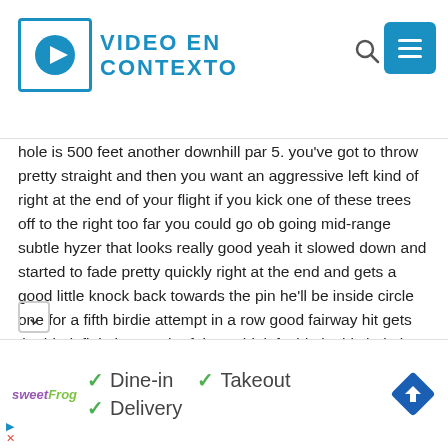VIDEO EN CONTEXTO
hole is 500 feet another downhill par 5. you've got to throw pretty straight and then you want an aggressive left kind of right at the end of your flight if you kick one of these trees off to the right too far you could go ob going mid-range subtle hyzer that looks really good yeah it slowed down and started to fade pretty quickly right at the end and gets a good little knock back towards the pin he'll be inside circle one for a fifth birdie attempt in a row good fairway hit gets the hit definitely gets the fairway hit left side in this hole is actually terrible because not only do you have to get down the hill you have to get down the hill and still hit that left turn colton just a bit on that left side believe he advanced far enough down the fairway that the upshot won't be too difficult but he should have a gap to hit still ricky going flex again oh yeah okay that is that aggressive late turn that i was talking about he went with a very disc there and got it flat moving right just a bit but knew that
[Figure (infographic): Advertisement banner with sweetFrog logo, dine-in, takeout, delivery options and navigation arrow icon]